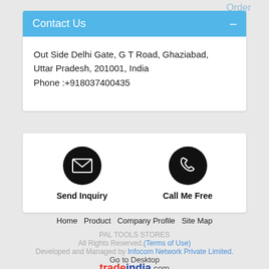Order
Contact Us
Out Side Delhi Gate, G T Road, Ghaziabad, Uttar Pradesh, 201001, India
Phone :+918037400435
[Figure (infographic): Two circular black buttons: Send Inquiry (envelope icon) and Call Me Free (phone icon)]
Send Inquiry
Call Me Free
Home   Product   Company Profile   Site Map
PAL TOOLS STORES
All Rights Reserved.(Terms of Use)
Developed and Managed by Infocom Network Private Limited.
Go to Desktop
[Figure (logo): tradeindia.com logo]